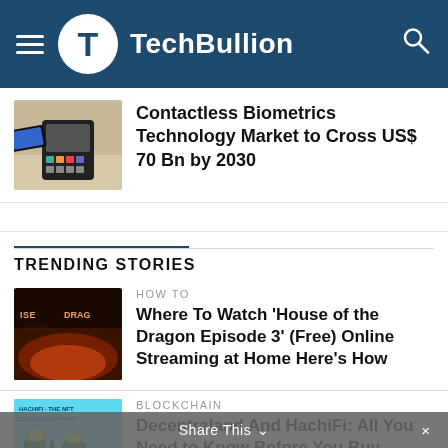TechBullion
Contactless Biometrics Technology Market to Cross US$ 70 Bn by 2030
TRENDING STORIES
HOW TO
Where To Watch 'House of the Dragon Episode 3' (Free) Online Streaming at Home Here's How
BLOCKCHAIN
Decentraland And HachiFi: All You Need to Know Before You Buy
Share This ∨  ×